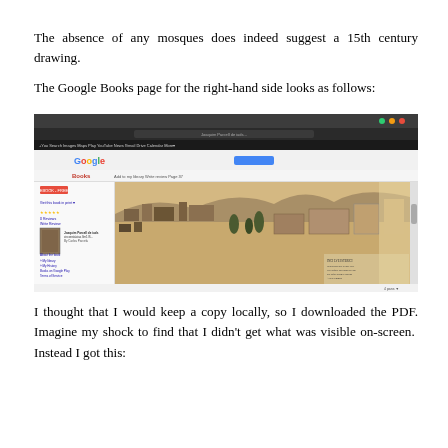The absence of any mosques does indeed suggest a 15th century drawing.
The Google Books page for the right-hand side looks as follows:
[Figure (screenshot): A screenshot of a Google Books webpage showing an old engraved map/drawing of a city landscape, with the Google Books interface visible including sidebar with book details and the main content area showing the historical illustration.]
I thought that I would keep a copy locally, so I downloaded the PDF. Imagine my shock to find that I didn't get what was visible on-screen.  Instead I got this: